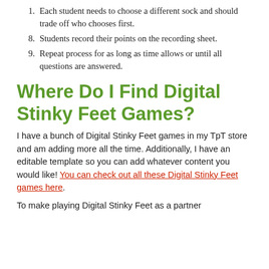Each student needs to choose a different sock and should trade off who chooses first.
Students record their points on the recording sheet.
Repeat process for as long as time allows or until all questions are answered.
Where Do I Find Digital Stinky Feet Games?
I have a bunch of Digital Stinky Feet games in my TpT store and am adding more all the time. Additionally, I have an editable template so you can add whatever content you would like! You can check out all these Digital Stinky Feet games here.
To make playing Digital Stinky Feet as a partner